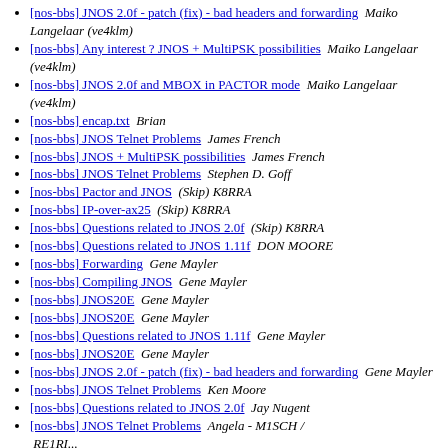[nos-bbs] JNOS 2.0f - patch (fix) - bad headers and forwarding  Maiko Langelaar (ve4klm)
[nos-bbs] Any interest ? JNOS + MultiPSK possibilities  Maiko Langelaar (ve4klm)
[nos-bbs] JNOS 2.0f and MBOX in PACTOR mode  Maiko Langelaar (ve4klm)
[nos-bbs] encap.txt  Brian
[nos-bbs] JNOS Telnet Problems  James French
[nos-bbs] JNOS + MultiPSK possibilities  James French
[nos-bbs] JNOS Telnet Problems  Stephen D. Goff
[nos-bbs] Pactor and JNOS  (Skip) K8RRA
[nos-bbs] IP-over-ax25  (Skip) K8RRA
[nos-bbs] Questions related to JNOS 2.0f  (Skip) K8RRA
[nos-bbs] Questions related to JNOS 1.11f  DON MOORE
[nos-bbs] Forwarding  Gene Mayler
[nos-bbs] Compiling JNOS  Gene Mayler
[nos-bbs] JNOS20E  Gene Mayler
[nos-bbs] JNOS20E  Gene Mayler
[nos-bbs] Questions related to JNOS 1.11f  Gene Mayler
[nos-bbs] JNOS20E  Gene Mayler
[nos-bbs] JNOS 2.0f - patch (fix) - bad headers and forwarding  Gene Mayler
[nos-bbs] JNOS Telnet Problems  Ken Moore
[nos-bbs] Questions related to JNOS 2.0f  Jay Nugent
[nos-bbs] JNOS Telnet Problems  Angela - M1SCH / RE1RI...